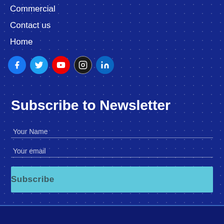Commercial
Contact us
Home
[Figure (infographic): Row of five social media icon circles: Facebook (blue), Twitter (light blue), YouTube (red), Instagram (dark/black), LinkedIn (blue)]
Subscribe to Newsletter
Your Name
Your email
Subscribe